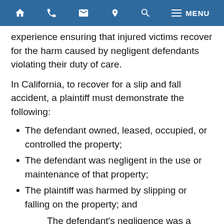HOME  PHONE  EMAIL  LOCATION  SEARCH  MENU
experience ensuring that injured victims recover for the harm caused by negligent defendants violating their duty of care.
In California, to recover for a slip and fall accident, a plaintiff must demonstrate the following:
The defendant owned, leased, occupied, or controlled the property;
The defendant was negligent in the use or maintenance of that property;
The plaintiff was harmed by slipping or falling on the property; and
The defendant's negligence was a substantial factor in harming the plaintiff.